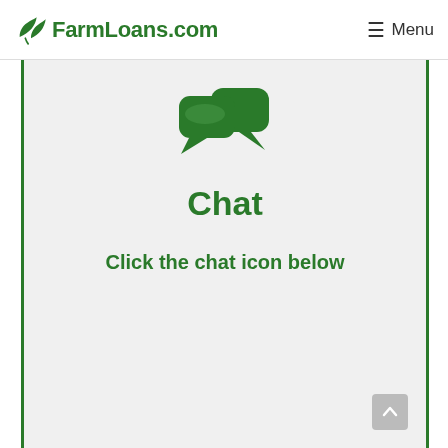FarmLoans.com  Menu
[Figure (illustration): Two overlapping speech bubble / chat icons in dark green]
Chat
Click the chat icon below